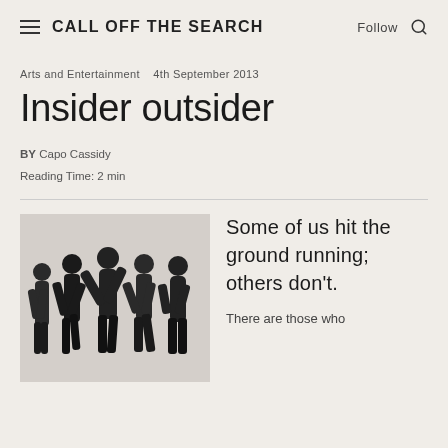CALL OFF THE SEARCH  Follow
Arts and Entertainment   4th September 2013
Insider outsider
BY Capo Cassidy
Reading Time: 2 min
[Figure (photo): Group of five performers in black clothing in dynamic running/movement poses against a white background]
Some of us hit the ground running; others don't.

There are those who